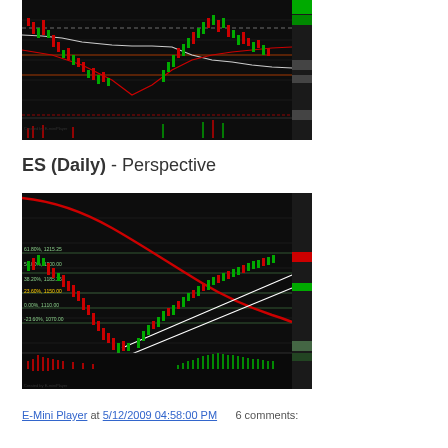[Figure (continuous-plot): ES futures candlestick chart (shorter timeframe) showing price action with red and green candles, moving averages, horizontal support/resistance lines, and volume/indicator panel at bottom. Dark background trading chart.]
ES (Daily) - Perspective
[Figure (continuous-plot): ES futures Daily candlestick chart showing longer-term perspective with a prominent red descending curve (moving average), white ascending channel lines, green candles showing recent rally from lows, horizontal Fibonacci/support levels labeled in green on left side, and MACD/momentum indicator panel at bottom. Dark background trading chart.]
E-Mini Player at 5/12/2009 04:58:00 PM     6 comments: